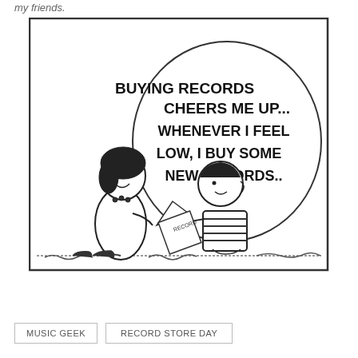my friends.
[Figure (illustration): Peanuts comic strip panel showing Lucy and Schroeder. Schroeder holds a record and says in a speech bubble: 'BUYING RECORDS CHEERS ME UP... WHENEVER I FEEL LOW, I BUY SOME NEW RECORDS..']
MUSIC GEEK
RECORD STORE DAY